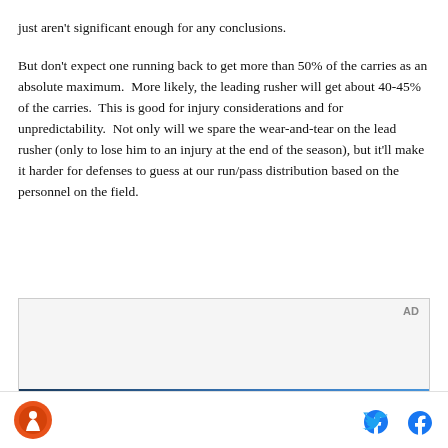just aren't significant enough for any conclusions.
But don't expect one running back to get more than 50% of the carries as an absolute maximum.  More likely, the leading rusher will get about 40-45% of the carries.  This is good for injury considerations and for unpredictability.  Not only will we spare the wear-and-tear on the lead rusher (only to lose him to an injury at the end of the season), but it'll make it harder for defenses to guess at our run/pass distribution based on the personnel on the field.
[Figure (other): Advertisement block with AD label and image strip at bottom]
Site logo, Twitter share icon, Facebook share icon